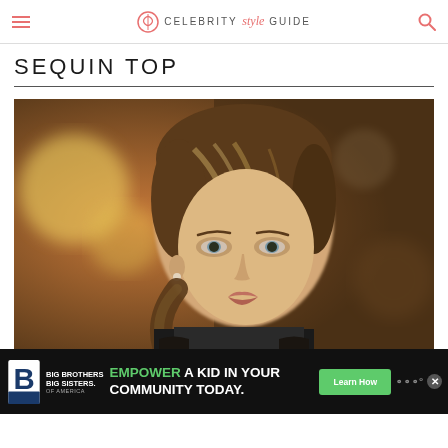Celebrity Style Guide
SEQUIN TOP
[Figure (photo): Close-up portrait of a woman with blonde hair pulled back in a low ponytail, wearing a sequin top, with a blurred background showing warm bokeh lights.]
[Figure (infographic): Advertisement banner: Big Brothers Big Sisters of America logo on left, green text 'EMPOWER A KID IN YOUR COMMUNITY TODAY.' in center, green 'Learn How' button, and W logo on right, with X close button. Black background.]